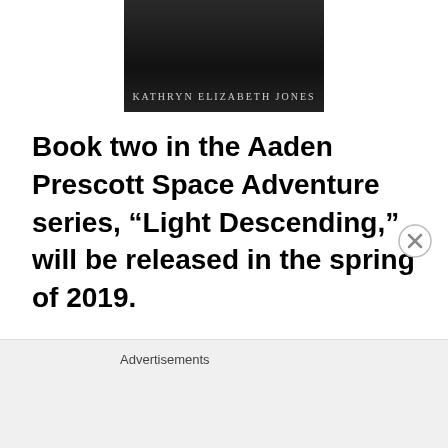[Figure (illustration): Book cover image with dark/space background showing author name KATHRYN ELIZABETH JONES in light grey serif lettering]
Book two in the Aaden Prescott Space Adventure series, “Light Descending,” will be released in the spring of 2019. I have also published Christian fiction, Christian nonfiction, business nonfiction,
Advertisements